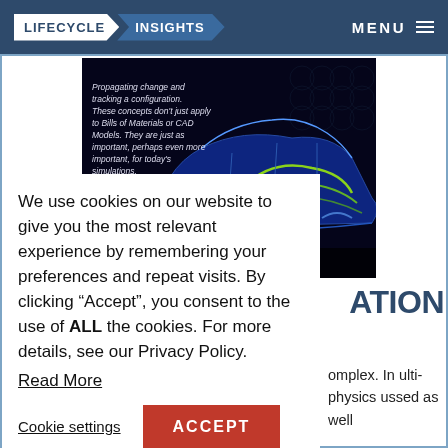LIFECYCLE > INSIGHTS | MENU
[Figure (screenshot): Blue wireframe/simulation render of a car chassis/body structure with glowing yellow-green highlights, with italic text overlay about propagating change and tracking a configuration for simulations. Published by Lifecycle Insights badge in bottom right.]
We use cookies on our website to give you the most relevant experience by remembering your preferences and repeat visits. By clicking “Accept”, you consent to the use of ALL the cookies. For more details, see our Privacy Policy.
Read More
Cookie settings | ACCEPT